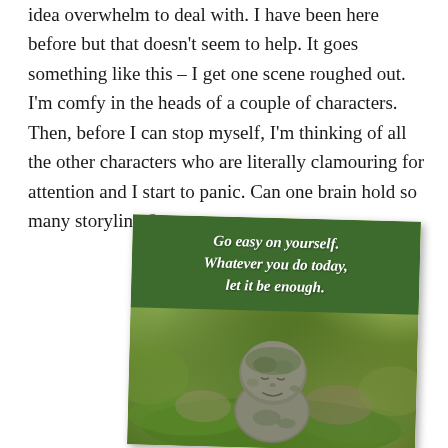idea overwhelm to deal with. I have been here before but that doesn't seem to help. It goes something like this – I get one scene roughed out. I'm comfy in the heads of a couple of characters. Then, before I can stop myself, I'm thinking of all the other characters who are literally clamouring for attention and I start to panic. Can one brain hold so many storylines?
[Figure (photo): A motivational image showing a small moss-covered stone Buddha figure resting on green mossy rocks in a forest setting. A dark green banner overlay at the top reads in bold italic white text: 'Go easy on yourself. Whatever you do today, let it be enough.' The photo card appears slightly rotated.]